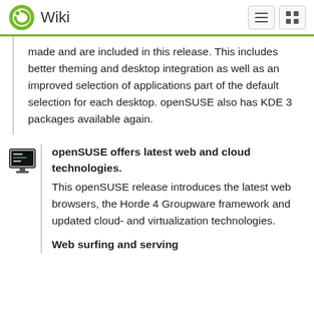Wiki
made and are included in this release. This includes better theming and desktop integration as well as an improved selection of applications part of the default selection for each desktop. openSUSE also has KDE 3 packages available again.
openSUSE offers latest web and cloud technologies.
This openSUSE release introduces the latest web browsers, the Horde 4 Groupware framework and updated cloud- and virtualization technologies.
Web surfing and serving